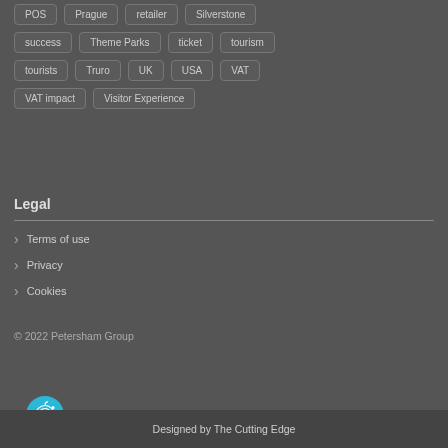POS
Prague
retailer
Silverstone
success
Theme Parks
ticket
tourism
tourists
Truro
UK
USA
VAT
VAT impact
Visitor Experience
Legal
Terms of use
Privacy
Cookies
© 2022 Petersham Group
Designed by The Cutting Edge